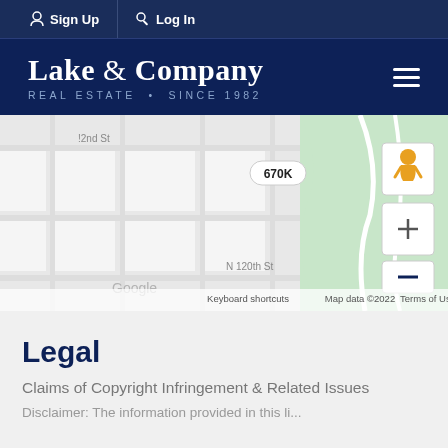Sign Up  Log In
[Figure (logo): Lake & Company Real Estate Since 1982 logo with hamburger menu icon]
[Figure (map): Google Maps showing Fremont Ave N area with streets N 122nd St and N 120th St, a property marker labeled 670K, green park area, and map controls including pegman, zoom in/out buttons. Footer shows: Keyboard shortcuts | Map data ©2022 | Terms of Use]
Legal
Claims of Copyright Infringement & Related Issues
Disclaimer: The information provided in this li...